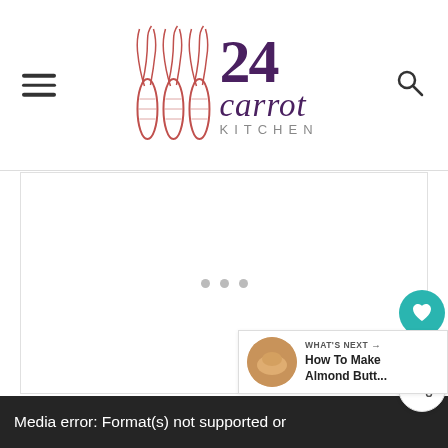24 Carrot Kitchen
[Figure (screenshot): Large white content area with three gray loading dots in the center, representing a media player or embedded content area]
[Figure (infographic): Social sidebar with teal heart button showing 400 saves and a share button]
[Figure (infographic): What's Next widget showing a thumbnail and link: How To Make Almond Butt...]
Media error: Format(s) not supported or